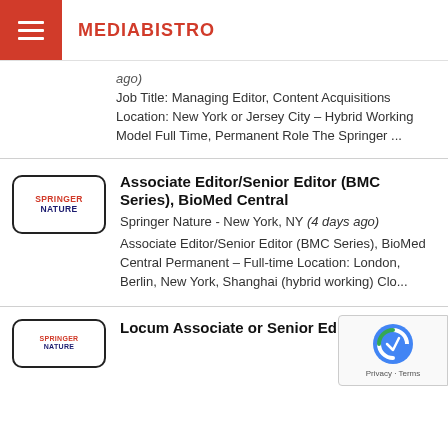MEDIABISTRO
ago)
Job Title: Managing Editor, Content Acquisitions Location: New York or Jersey City – Hybrid Working Model Full Time, Permanent Role The Springer ...
Associate Editor/Senior Editor (BMC Series), BioMed Central
Springer Nature - New York, NY (4 days ago)
Associate Editor/Senior Editor (BMC Series), BioMed Central Permanent – Full-time Location: London, Berlin, New York, Shanghai (hybrid working) Clo...
Locum Associate or Senior Editor,